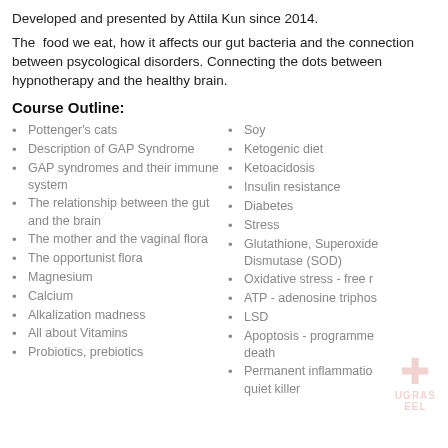Developed and presented by Attila Kun since 2014.
The food we eat, how it affects our gut bacteria and the connection between psycological disorders. Connecting the dots between hypnotherapy and the healthy brain.
Course Outline:
Pottenger's cats
Description of GAP Syndrome
GAP syndromes and their immune system
The relationship between the gut and the brain
The mother and the vaginal flora
The opportunist flora
Magnesium
Calcium
Alkalization madness
All about Vitamins
Probiotics, prebiotics
Soy
Ketogenic diet
Ketoacidosis
Insulin resistance
Diabetes
Stress
Glutathione, Superoxide Dismutase (SOD)
Oxidative stress - free r[adicals]
ATP - adenosine triphos[phate]
LSD
Apoptosis - programmed cell death
Permanent inflammation - quiet killer